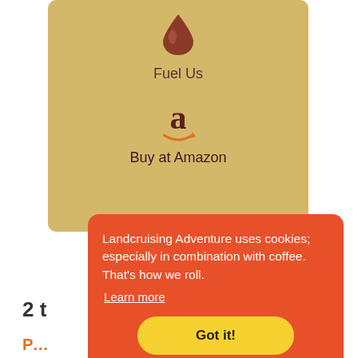[Figure (illustration): Coffee drop icon (dark reddish-brown water drop with a highlight) inside a golden/tan rounded box]
Fuel Us
[Figure (logo): Amazon logo (lowercase 'a' with a smile/arrow underneath) in dark brown on a golden/tan background]
Buy at Amazon
Landcruising Adventure uses cookies; especially in combination with coffee. That's how we roll.
Learn more
Got it!
2 t
P...